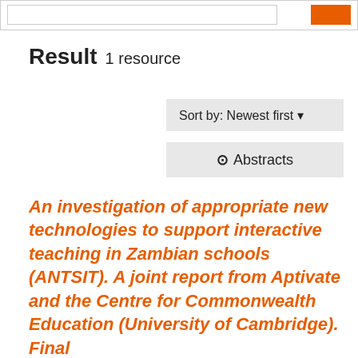Result 1 resource
Sort by: Newest first
Abstracts
An investigation of appropriate new technologies to support interactive teaching in Zambian schools (ANTSIT). A joint report from Aptivate and the Centre for Commonwealth Education (University of Cambridge). Final